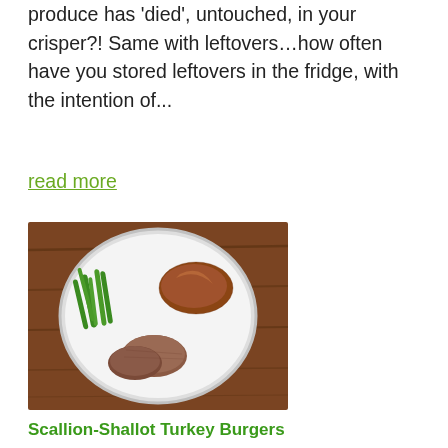produce has 'died', untouched, in your crisper?! Same with leftovers…how often have you stored leftovers in the fridge, with the intention of...
read more
[Figure (photo): A white plate on a wooden table containing turkey burgers, green beans, and a stuffed sweet potato]
Scallion-Shallot Turkey Burgers
by kathryn | Animal Protein, Anti-inflammatory, Autoimmune-
Download a FREE Weight Loss Guide!
Allium vegetables are in the the garlic and